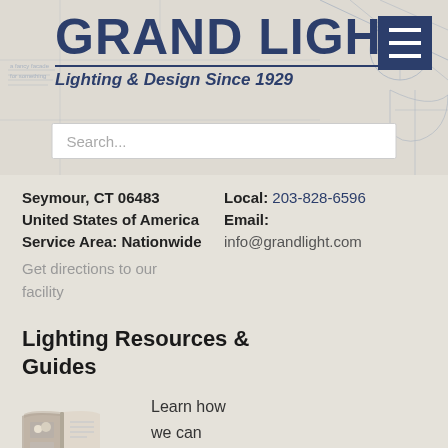[Figure (logo): Grand Light logo with tagline 'Lighting & Design Since 1929' and hamburger menu icon, with blueprint-style background and search bar]
Seymour, CT 06483
Local: 203-828-6596
United States of America
Email:
Service Area: Nationwide
info@grandlight.com
Get directions to our facility
Lighting Resources & Guides
[Figure (photo): Open book/catalog with lighting images]
Learn how we can help you with your next project.
Learn More